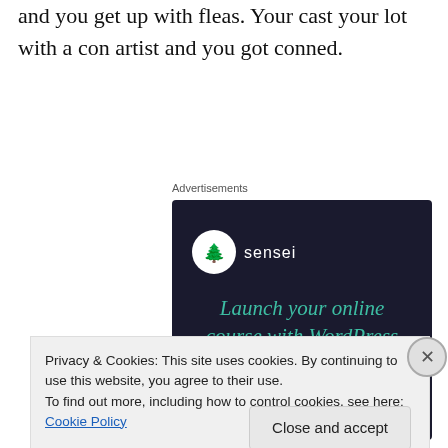and you get up with fleas. Your cast your lot with a con artist and you got conned.
Advertisements
[Figure (other): Advertisement banner for Sensei plugin — dark navy background with Sensei logo (tree icon in circle), text 'Launch your online course with WordPress' in teal, and a teal 'Learn More' pill button.]
Privacy & Cookies: This site uses cookies. By continuing to use this website, you agree to their use.
To find out more, including how to control cookies, see here: Cookie Policy